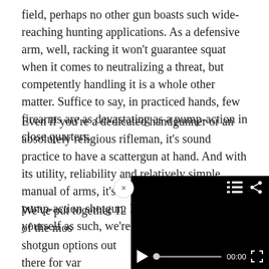field, perhaps no other gun boasts such wide-reaching hunting applications. As a defensive arm, well, racking it won't guarantee squat when it comes to neutralizing a threat, but competently handling it is a whole other matter. Suffice to say, in practiced hands, few firearms are as devastating as a pump-action in close quarters.
Even if you're a dedicated handgunner or an absolutely religious rifleman, it's sound practice to have a scattergun at hand. And with its utility, reliability and relatively simple manual of arms, it's natural to gravitate to the pump-action shotgun. If you've yet to arm yourself as such, we're here to help.
We've put together 12 of the most [obscured] shotgun options out there for vari[ous...] given their general affordability, [they are] considered among the best in cla[ss...]
[Figure (screenshot): Video player overlay in the bottom-right corner showing a black background with a playlist icon, share icon, play button, progress bar with dot at start, 00:00 timecode, and fullscreen button. A close (x) button appears in a white circle at the top-left of the overlay.]